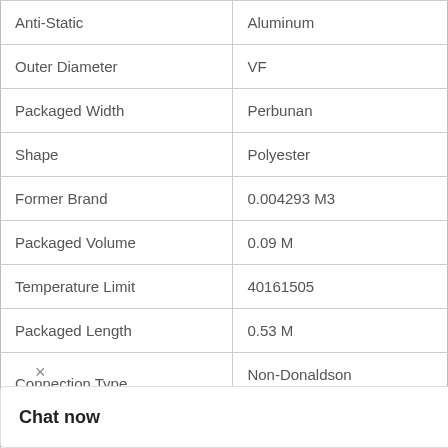| Property | Value |
| --- | --- |
| Anti-Static | Aluminum |
| Outer Diameter | VF |
| Packaged Width | Perbunan |
| Shape | Polyester |
| Former Brand | 0.004293 M3 |
| Packaged Volume | 0.09 M |
| Temperature Limit | 40161505 |
| Packaged Length | 0.53 M |
| Connection Type | Non-Donaldson Connec |
|  | 0.09 M |
|  | 0.53 KG |
[Figure (logo): WhatsApp green circle icon with phone handset, with 'WhatsApp Online' text label below]
Chat now